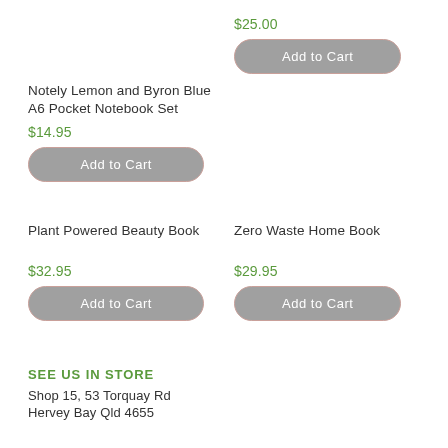$25.00
Add to Cart
Notely Lemon and Byron Blue A6 Pocket Notebook Set
$14.95
Add to Cart
Plant Powered Beauty Book
Zero Waste Home Book
$32.95
$29.95
Add to Cart
Add to Cart
SEE US IN STORE
Shop 15, 53 Torquay Rd
Hervey Bay Qld 4655